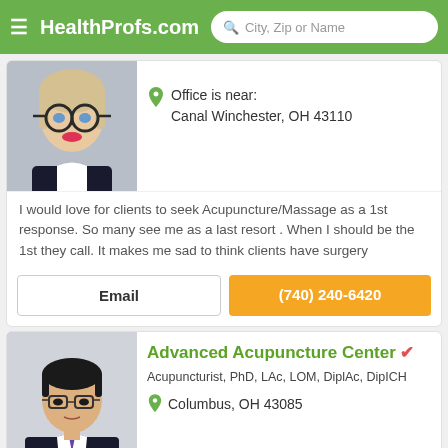HealthProfs.com | City, Zip or Name
Office is near:
Canal Winchester, OH 43110
I would love for clients to seek Acupuncture/Massage as a 1st response. So many see me as a last resort . When I should be the 1st they call. It makes me sad to think clients have surgery
Email
(740) 240-6420
Advanced Acupuncture Center
Acupuncturist, PhD, LAc, LOM, DiplAc, DipICH
Columbus, OH 43085